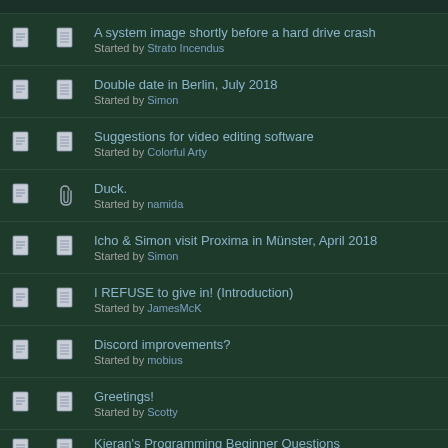A system image shortly before a hard drive crash
Started by Strato Incendus
Double date in Berlin, July 2018
Started by Simon
Suggestions for video editing software
Started by Colorful Arty
Duck.
Started by namida
Icho & Simon visit Proxima in Münster, April 2018
Started by Simon
I REFUSE to give in! (Introduction)
Started by JamesMcK
Discord improvements?
Started by mobius
Greetings!
Started by Scotty
Kieran's Programming Beginner Questions
Started by kieranmillar « 1 2 All »